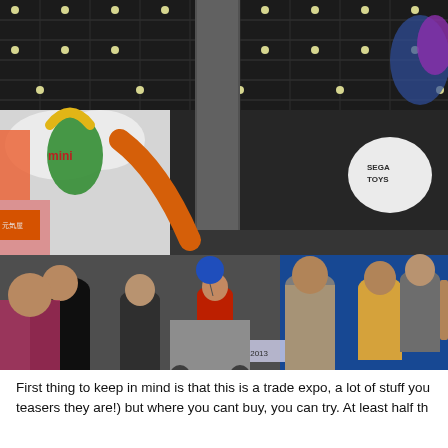[Figure (photo): Crowded indoor toy trade expo (Japan, 2013) with many families and children walking through exhibition hall. Colorful brand booths visible including 'mini', 'SEGA TOYS', 'BAKUGAN', and others. Balloons and inflatable mascots hang from the ceiling. The hall has a grid ceiling with recessed lights. A blue-floored aisle on the right, people browsing toy booths.]
First thing to keep in mind is that this is a trade expo, a lot of stuff you teasers they are!) but where you cant buy, you can try. At least half th